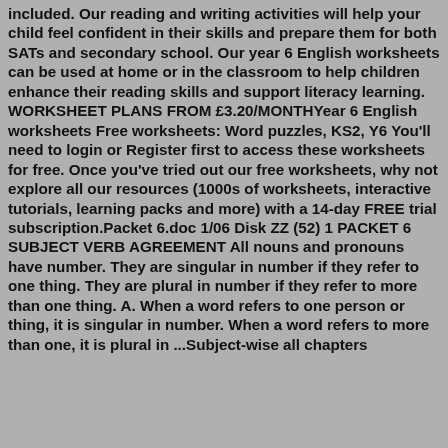included. Our reading and writing activities will help your child feel confident in their skills and prepare them for both SATs and secondary school. Our year 6 English worksheets can be used at home or in the classroom to help children enhance their reading skills and support literacy learning. WORKSHEET PLANS FROM £3.20/MONTHYear 6 English worksheets Free worksheets: Word puzzles, KS2, Y6 You'll need to login or Register first to access these worksheets for free. Once you've tried out our free worksheets, why not explore all our resources (1000s of worksheets, interactive tutorials, learning packs and more) with a 14-day FREE trial subscription.Packet 6.doc 1/06 Disk ZZ (52) 1 PACKET 6 SUBJECT VERB AGREEMENT All nouns and pronouns have number. They are singular in number if they refer to one thing. They are plural in number if they refer to more than one thing. A. When a word refers to one person or thing, it is singular in number. When a word refers to more than one, it is plural in ...Subject-wise all chapters